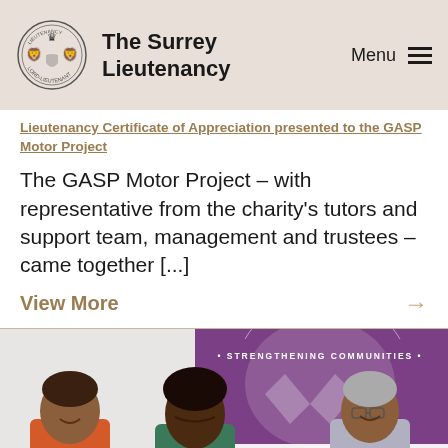The Surrey Lieutenancy
Lieutenancy Certificate of Appreciation presented to the GASP Motor Project
The GASP Motor Project – with representative from the charity's tutors and support team, management and trustees – came together [...]
View More
[Figure (photo): Three women standing together in front of a purple Surrey Minority Ethnic Forum (SMEF) banner with text 'Strengthening Communities', 'independent community representing a collective of community groups.']